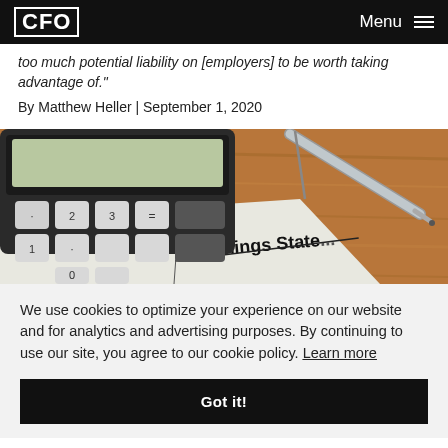CFO  Menu
too much potential liability on [employers] to be worth taking advantage of."
By Matthew Heller | September 1, 2020
[Figure (photo): Photo of a calculator and pen resting on a document titled 'Earnings State...' on a wooden desk surface]
We use cookies to optimize your experience on our website and for analytics and advertising purposes. By continuing to use our site, you agree to our cookie policy. Learn more
Got it!